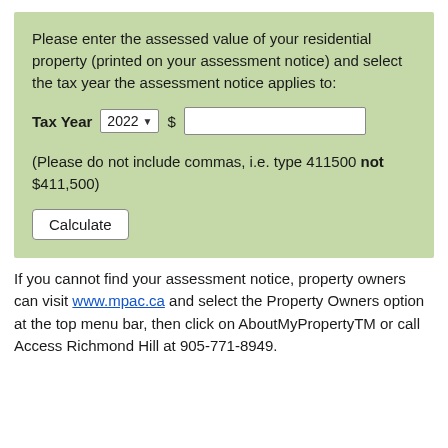Please enter the assessed value of your residential property (printed on your assessment notice) and select the tax year the assessment notice applies to:
Tax Year  2022  $  [input field]
(Please do not include commas, i.e. type 411500 not $411,500)
Calculate
If you cannot find your assessment notice, property owners can visit www.mpac.ca and select the Property Owners option at the top menu bar, then click on AboutMyPropertyTM or call Access Richmond Hill at 905-771-8949.